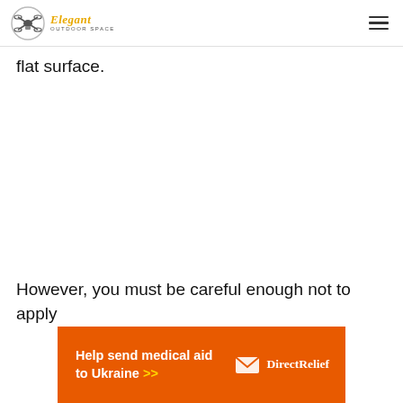Elegant Outdoor Space
flat surface.
However, you must be careful enough not to apply
[Figure (infographic): Orange advertising banner for Direct Relief reading 'Help send medical aid to Ukraine >>' with Direct Relief logo on the right.]